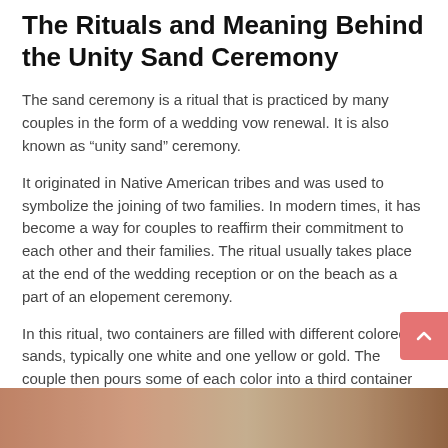The Rituals and Meaning Behind the Unity Sand Ceremony
The sand ceremony is a ritual that is practiced by many couples in the form of a wedding vow renewal. It is also known as “unity sand” ceremony.
It originated in Native American tribes and was used to symbolize the joining of two families. In modern times, it has become a way for couples to reaffirm their commitment to each other and their families. The ritual usually takes place at the end of the wedding reception or on the beach as a part of an elopement ceremony.
In this ritual, two containers are filled with different colored sands, typically one white and one yellow or gold. The couple then pours some of each color into a third container which signifies how they will mix together in unity as husband and wife.
[Figure (photo): Bottom strip of a photo showing warm-toned wedding or ceremonial scene, partially visible at the bottom of the page.]